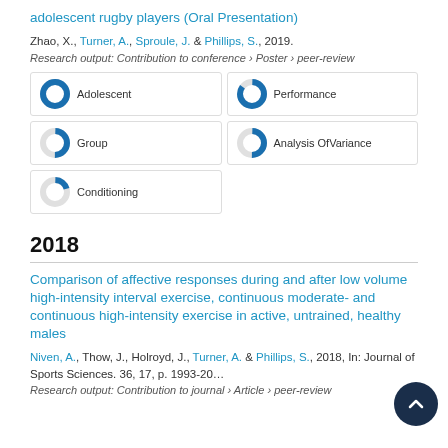adolescent rugby players (Oral Presentation)
Zhao, X., Turner, A., Sproule, J. & Phillips, S., 2019.
Research output: Contribution to conference › Poster › peer-review
[Figure (infographic): Keyword badges with donut-chart style percentage indicators: Adolescent (100%), Performance (~85%), Group (~50%), Analysis OfVariance (~50%), Conditioning (~20%)]
2018
Comparison of affective responses during and after low volume high-intensity interval exercise, continuous moderate- and continuous high-intensity exercise in active, untrained, healthy males
Niven, A., Thow, J., Holroyd, J., Turner, A. & Phillips, S., 2018, In: Journal of Sports Sciences. 36, 17, p. 1993-20...
Research output: Contribution to journal › Article › peer-review